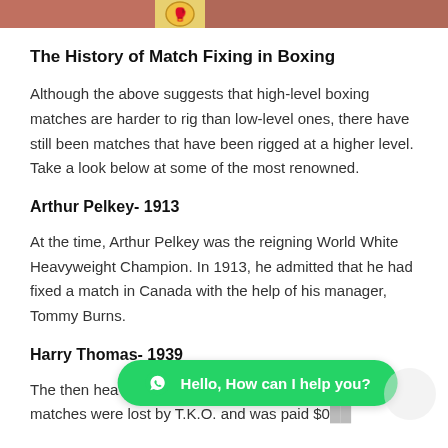[Figure (photo): Partial image strip at top showing boxing-related images on left and right with a logo/emblem in the center]
The History of Match Fixing in Boxing
Although the above suggests that high-level boxing matches are harder to rig than low-level ones, there have still been matches that have been rigged at a higher level. Take a look below at some of the most renowned.
Arthur Pelkey- 1913
At the time, Arthur Pelkey was the reigning World White Heavyweight Champion. In 1913, he admitted that he had fixed a match in Canada with the help of his manager, Tommy Burns.
Harry Thomas- 1939
The then heavywei... 1938. Both matches were lost by T.K.O. and was paid $0...
[Figure (screenshot): WhatsApp chat widget overlay with green rounded button saying 'Hello, How can I help you?' with WhatsApp icon]